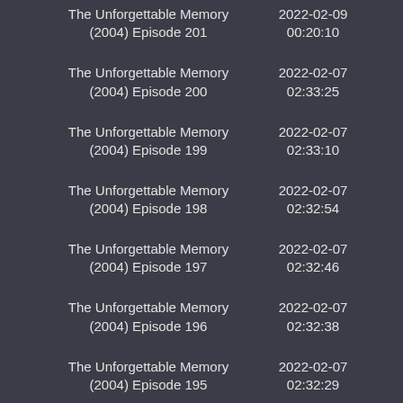The Unforgettable Memory (2004) Episode 201 | 2022-02-09 00:20:10
The Unforgettable Memory (2004) Episode 200 | 2022-02-07 02:33:25
The Unforgettable Memory (2004) Episode 199 | 2022-02-07 02:33:10
The Unforgettable Memory (2004) Episode 198 | 2022-02-07 02:32:54
The Unforgettable Memory (2004) Episode 197 | 2022-02-07 02:32:46
The Unforgettable Memory (2004) Episode 196 | 2022-02-07 02:32:38
The Unforgettable Memory (2004) Episode 195 | 2022-02-07 02:32:29